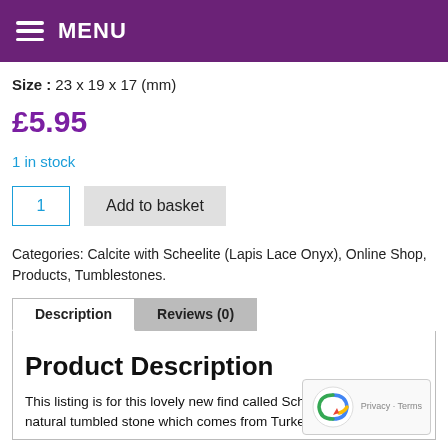MENU
Size : 23 x 19 x 17 (mm)
£5.95
1 in stock
1  Add to basket
Categories: Calcite with Scheelite (Lapis Lace Onyx), Online Shop, Products, Tumblestones.
Description
Reviews (0)
Product Description
This listing is for this lovely new find called Scheelite In Calcite natural tumbled stone which comes from Turkey,